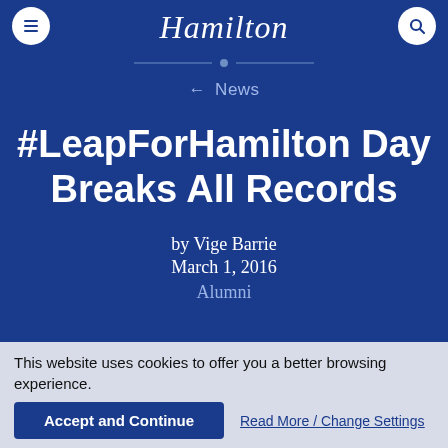Hamilton
← News
#LeapForHamilton Day Breaks All Records
by Vige Barrie
March 1, 2016
Alumni
This website uses cookies to offer you a better browsing experience.
Accept and Continue
Read More / Change Settings
Leaping up to, catapulting over and exploding through